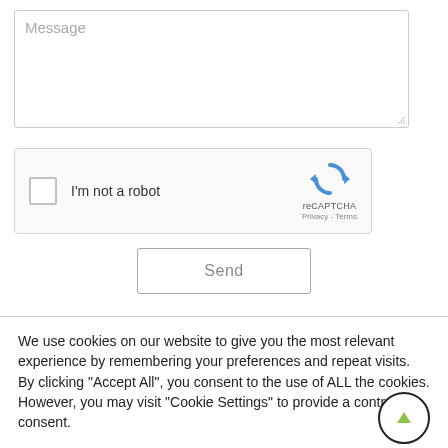[Figure (screenshot): Message textarea input field with placeholder text 'Message' and resize handle at bottom-right corner]
[Figure (screenshot): reCAPTCHA widget with checkbox, 'I'm not a robot' label, and reCAPTCHA logo with Privacy and Terms links]
Send
We use cookies on our website to give you the most relevant experience by remembering your preferences and repeat visits. By clicking "Accept All", you consent to the use of ALL the cookies. However, you may visit "Cookie Settings" to provide a controlled consent.
Cookie Settings
Accept All